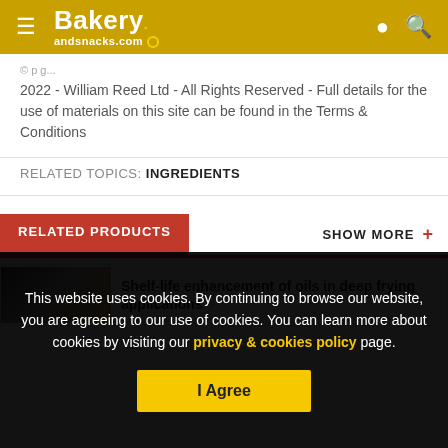Bakery andsnacks.com
2022 - William Reed Ltd - All Rights Reserved - Full details for the use of materials on this site can be found in the Terms & Conditions
RELATED TOPICS: Ingredients
RELATED PRODUCTS
SHOW MORE +
Shelf-life enhancement of oils in deep frying applications
This website uses cookies. By continuing to browse our website, you are agreeing to our use of cookies. You can learn more about cookies by visiting our privacy & cookies policy page.